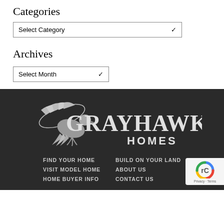Categories
Select Category
Archives
Select Month
[Figure (logo): Grayhawk Homes logo: a hawk in flight with large serif text 'GRAYHAWK' and smaller text 'HOMES' on a dark background]
FIND YOUR HOME
BUILD ON YOUR LAND
VISIT MODEL HOME
ABOUT US
HOME BUYER INFO
CONTACT US